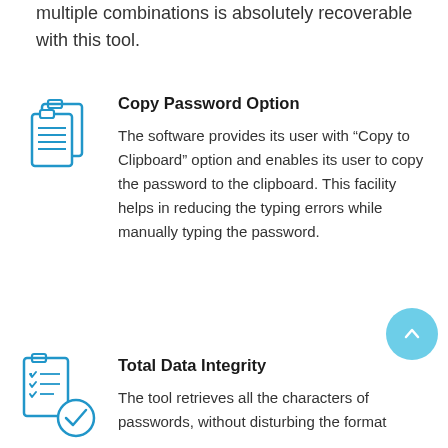multiple combinations is absolutely recoverable with this tool.
[Figure (illustration): Blue clipboard with document icon representing Copy Password Option feature]
Copy Password Option
The software provides its user with “Copy to Clipboard” option and enables its user to copy the password to the clipboard. This facility helps in reducing the typing errors while manually typing the password.
[Figure (illustration): Blue clipboard with checklist and checkmark circle icon representing Total Data Integrity feature]
Total Data Integrity
The tool retrieves all the characters of passwords, without disturbing the format